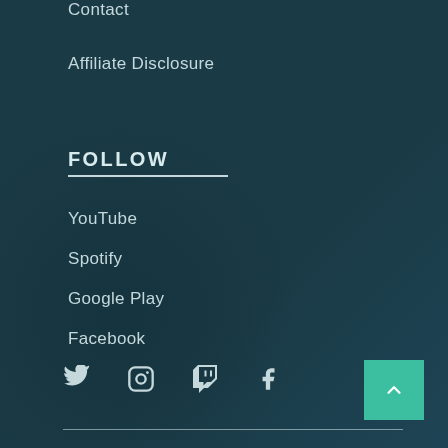Contact
Affiliate Disclosure
FOLLOW
YouTube
Spotify
Google Play
Facebook
[Figure (infographic): Row of social media icons: Twitter (bird), Instagram (camera), Twitch (controller), Facebook (f)]
[Figure (other): Back-to-top button: teal square with upward chevron arrow]